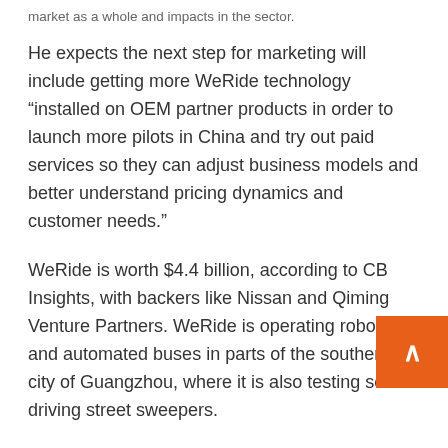market as a whole and impacts in the sector.
He expects the next step for marketing will include getting more WeRide technology “installed on OEM partner products in order to launch more pilots in China and try out paid services so they can adjust business models and better understand pricing dynamics and customer needs.”
WeRide is worth $4.4 billion, according to CB Insights, with backers like Nissan and Qiming Venture Partners. WeRide is operating robotics and automated buses in parts of the southern city of Guangzhou, where it is also testing self-driving street sweepers.
CEO Han declined to talk about specific valuation numbers. Instead of needing more money, he said main concern was how to reorganize the startup’s engineers.